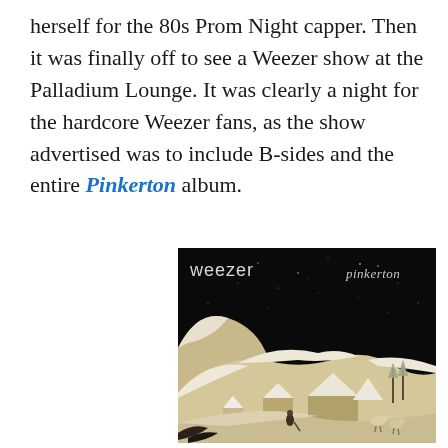herself for the 80s Prom Night capper. Then it was finally off to see a Weezer show at the Palladium Lounge. It was clearly a night for the hardcore Weezer fans, as the show advertised was to include B-sides and the entire Pinkerton album.
[Figure (photo): Weezer Pinkerton album cover showing a Japanese woodblock-style winter scene with snow-covered buildings, mountains, and a dark sky. Text 'weezer' in white upper left and 'pinkerton' in script upper right.]